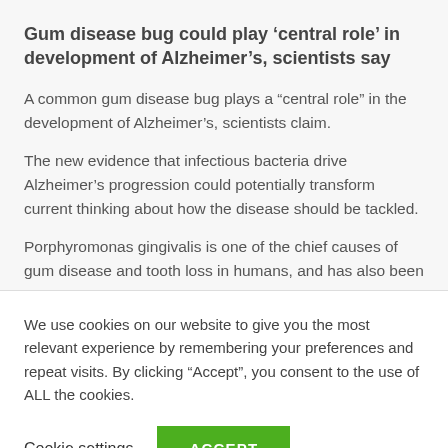Gum disease bug could play ‘central role’ in development of Alzheimer’s, scientists say
A common gum disease bug plays a “central role” in the development of Alzheimer’s, scientists claim.
The new evidence that infectious bacteria drive Alzheimer’s progression could potentially transform current thinking about how the disease should be tackled.
Porphyromonas gingivalis is one of the chief causes of gum disease and tooth loss in humans, and has also been
We use cookies on our website to give you the most relevant experience by remembering your preferences and repeat visits. By clicking “Accept”, you consent to the use of ALL the cookies.
Cookie settings
ACCEPT